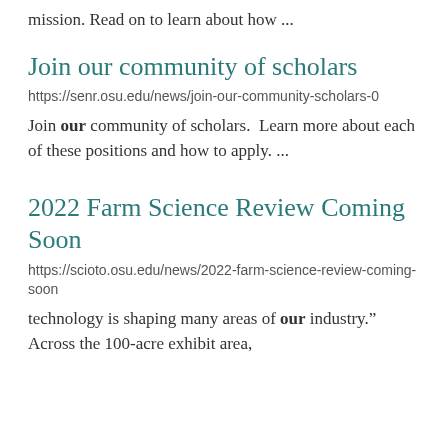mission. Read on to learn about how ...
Join our community of scholars
https://senr.osu.edu/news/join-our-community-scholars-0
Join our community of scholars. Learn more about each of these positions and how to apply. ...
2022 Farm Science Review Coming Soon
https://scioto.osu.edu/news/2022-farm-science-review-coming-soon
technology is shaping many areas of our industry.” Across the 100-acre exhibit area,